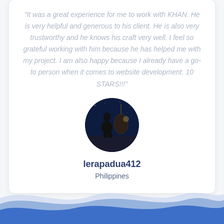"It was a great experience for me to work with KHAN. He is very helpful and generous to his client. He is also very trustworthy and he knows his craft very well. I feel so grateful working with him because he has helped me with my project. I am also happy because I already have a go-to person when it comes to website development. 10 STARS!!!"
[Figure (photo): Circular avatar photo of a person standing outdoors at night near a decorative hanging chair]
lerapadua412
Philippines
[Figure (illustration): Decorative blue wave pattern at the bottom of the page with multiple layered wave shapes in light blue and medium blue]